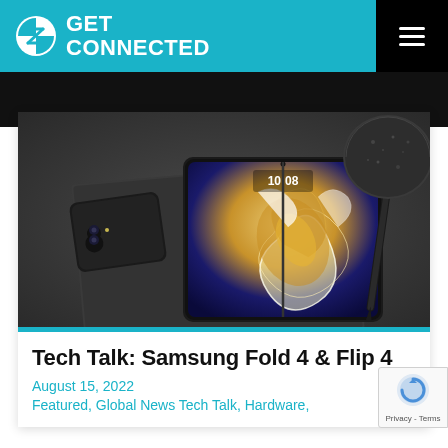GET CONNECTED
[Figure (photo): Samsung Galaxy Z Fold 4 open on a dark grey desk surface, with a Galaxy Z Flip 4 closed in the upper left, a marbled dark plate in the upper right, and a S Pen stylus on the right side. The Fold 4's screen shows a colorful swirling wallpaper with a clock reading 10:08.]
Tech Talk: Samsung Fold 4 & Flip 4
August 15, 2022
Featured, Global News Tech Talk, Hardware,